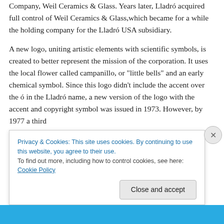Company, Weil Ceramics & Glass. Years later, Lladró acquired full control of Weil Ceramics & Glass,which became for a while the holding company for the Lladró USA subsidiary.

A new logo, uniting artistic elements with scientific symbols, is created to better represent the mission of the corporation. It uses the local flower called campanillo, or "little bells" and an early chemical symbol. Since this logo didn't include the accent over the ó in the Lladró name, a new version of the logo with the accent and copyright symbol was issued in 1973. However, by 1977 a third
Privacy & Cookies: This site uses cookies. By continuing to use this website, you agree to their use.
To find out more, including how to control cookies, see here: Cookie Policy